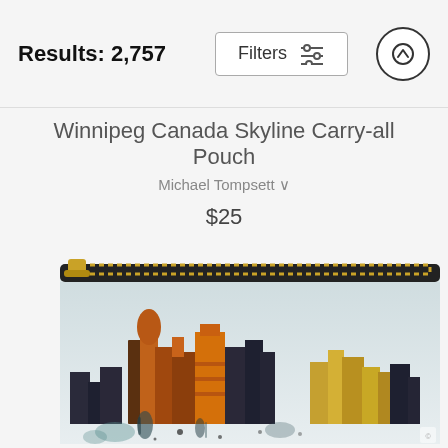Results: 2,757
Winnipeg Canada Skyline Carry-all Pouch
Michael Tompsett ♡
$25
[Figure (photo): A carry-all pouch with a watercolor-style illustration of the Winnipeg Canada skyline printed on it, with a gold zipper along the top.]